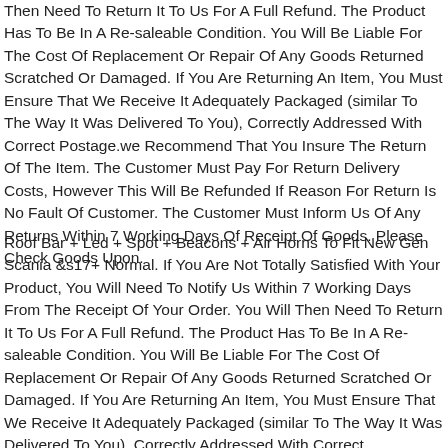Then Need To Return It To Us For A Full Refund. The Product Has To Be In A Re-saleable Condition. You Will Be Liable For The Cost Of Replacement Or Repair Of Any Goods Returned Scratched Or Damaged. If You Are Returning An Item, You Must Ensure That We Receive It Adequately Packaged (similar To The Way It Was Delivered To You), Correctly Addressed With Correct Postage.we Recommend That You Insure The Return Of The Item. The Customer Must Pay For Return Delivery Costs, However This Will Be Refunded If Reason For Return Is No Fault Of Customer. The Customer Must Inform Us Of Any Returns Within 7 Working Days Of Receipt Of Goods. Please Check Goods Upon.
Roof Bar + Led + Spot + Beacons + Air Horns To Fit New Gen Scania &s17+ Normal. If You Are Not Totally Satisfied With Your Product, You Will Need To Notify Us Within 7 Working Days From The Receipt Of Your Order. You Will Then Need To Return It To Us For A Full Refund. The Product Has To Be In A Re-saleable Condition. You Will Be Liable For The Cost Of Replacement Or Repair Of Any Goods Returned Scratched Or Damaged. If You Are Returning An Item, You Must Ensure That We Receive It Adequately Packaged (similar To The Way It Was Delivered To You), Correctly Addressed With Correct Postage.we